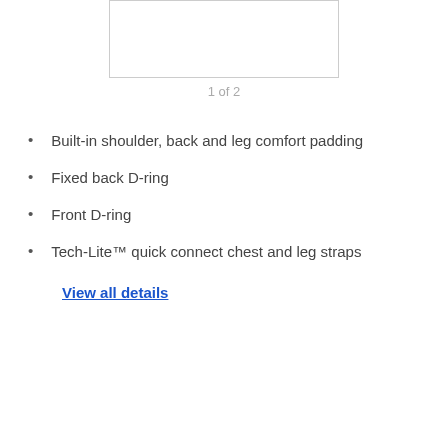[Figure (other): Product image placeholder box (empty white rectangle with border)]
1 of 2
Built-in shoulder, back and leg comfort padding
Fixed back D-ring
Front D-ring
Tech-Lite™ quick connect chest and leg straps
View all details